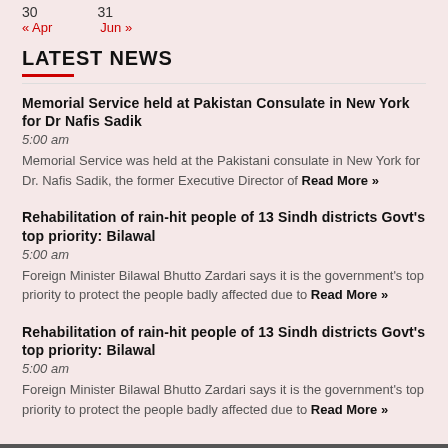30   31
« Apr   Jun »
LATEST NEWS
Memorial Service held at Pakistan Consulate in New York for Dr Nafis Sadik
5:00 am
Memorial Service was held at the Pakistani consulate in New York for Dr. Nafis Sadik, the former Executive Director of Read More »
Rehabilitation of rain-hit people of 13 Sindh districts Govt's top priority: Bilawal
5:00 am
Foreign Minister Bilawal Bhutto Zardari says it is the government's top priority to protect the people badly affected due to Read More »
Rehabilitation of rain-hit people of 13 Sindh districts Govt's top priority: Bilawal
5:00 am
Foreign Minister Bilawal Bhutto Zardari says it is the government's top priority to protect the people badly affected due to Read More »